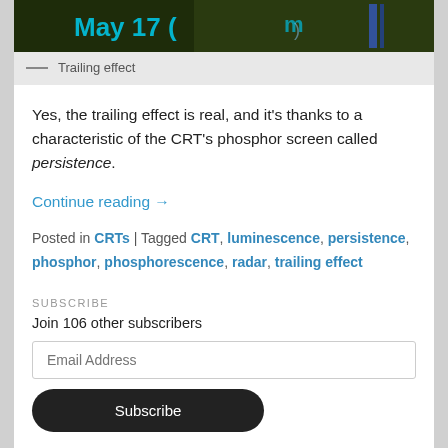[Figure (photo): Partial view of a CRT screen showing cyan/blue text on dark background with trailing effect visible. Text appears to read 'May 17 (...)' ]
— Trailing effect
Yes, the trailing effect is real, and it's thanks to a characteristic of the CRT's phosphor screen called persistence.
Continue reading →
Posted in CRTs | Tagged CRT, luminescence, persistence, phosphor, phosphorescence, radar, trailing effect
SUBSCRIBE
Join 106 other subscribers